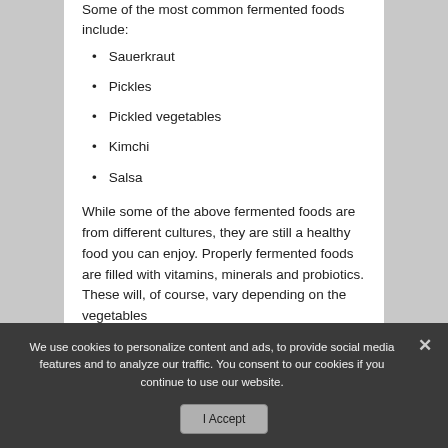Some of the most common fermented foods include:
Sauerkraut
Pickles
Pickled vegetables
Kimchi
Salsa
While some of the above fermented foods are from different cultures, they are still a healthy food you can enjoy. Properly fermented foods are filled with vitamins, minerals and probiotics. These will, of course, vary depending on the vegetables
We use cookies to personalize content and ads, to provide social media features and to analyze our traffic. You consent to our cookies if you continue to use our website.